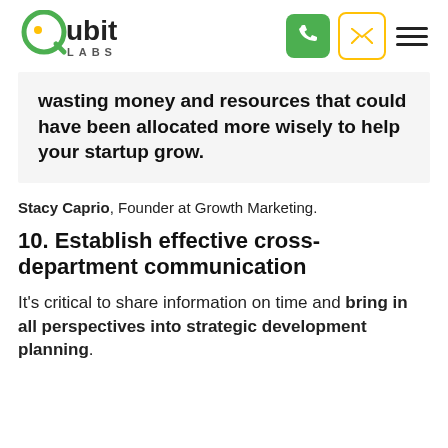Qubit Labs
wasting money and resources that could have been allocated more wisely to help your startup grow.
Stacy Caprio, Founder at Growth Marketing.
10. Establish effective cross-department communication
It's critical to share information on time and bring in all perspectives into strategic development planning.